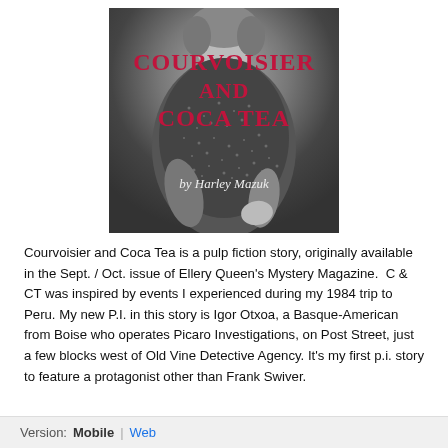[Figure (illustration): Book cover for 'Courvoisier and Coca Tea' by Harley Mazuk. Black and white photo of a glamorous woman in a sparkly dress, with the title text in red and the author name in white italic script overlaid on the image.]
Courvoisier and Coca Tea is a pulp fiction story, originally available in the Sept. / Oct. issue of Ellery Queen's Mystery Magazine.  C & CT was inspired by events I experienced during my 1984 trip to Peru. My new P.I. in this story is Igor Otxoa, a Basque-American from Boise who operates Picaro Investigations, on Post Street, just a few blocks west of Old Vine Detective Agency. It's my first p.i. story to feature a protagonist other than Frank Swiver.
Version:  Mobile | Web